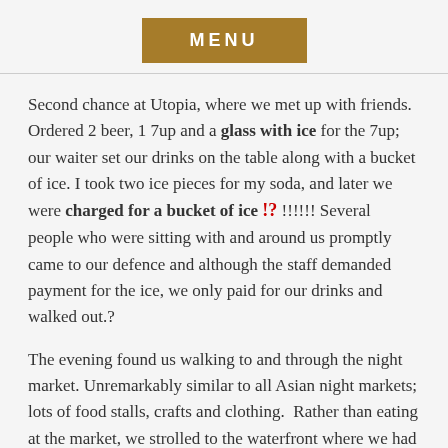MENU
Second chance at Utopia, where we met up with friends. Ordered 2 beer, 1 7up and a glass with ice for the 7up; our waiter set our drinks on the table along with a bucket of ice. I took two ice pieces for my soda, and later we were charged for a bucket of ice !? !!!!!! Several people who were sitting with and around us promptly came to our defence and although the staff demanded payment for the ice, we only paid for our drinks and walked out.?
The evening found us walking to and through the night market. Unremarkably similar to all Asian night markets; lots of food stalls, crafts and clothing.  Rather than eating at the market, we strolled to the waterfront where we had a dinner of spring rolls and pad thai washed down with Beerlao at restaurant Lamache.